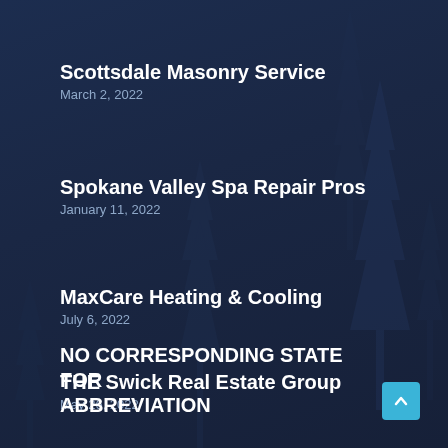Scottsdale Masonry Service
March 2, 2022
Spokane Valley Spa Repair Pros
January 11, 2022
MaxCare Heating & Cooling
July 6, 2022
THE Swick Real Estate Group
May 26, 2022
NO CORRESPONDING STATE FOR ABBREVIATION